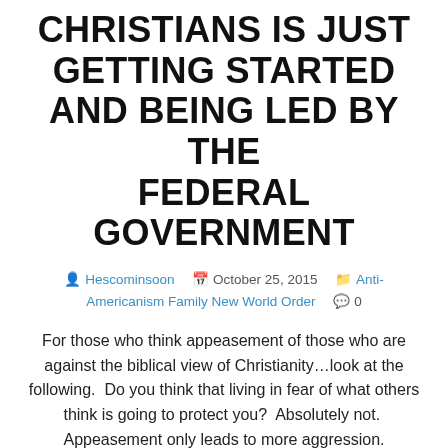CHRISTIANS IS JUST GETTING STARTED AND BEING LED BY THE FEDERAL GOVERNMENT
Hescominsoon  October 25, 2015  Anti-Americanism Family New World Order  0
For those who think appeasement of those who are against the biblical view of Christianity…look at the following.  Do you think that living in fear of what others think is going to protect you?  Absolutely not.  Appeasement only leads to more aggression.